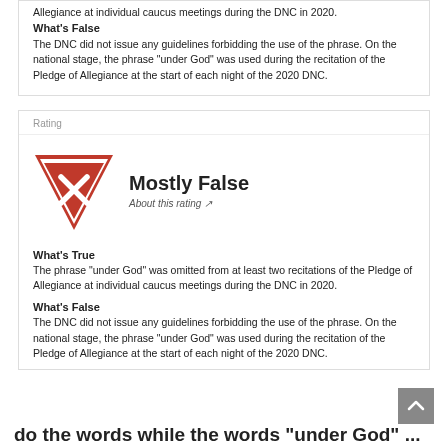Allegiance at individual caucus meetings during the DNC in 2020.
What's False
The DNC did not issue any guidelines forbidding the use of the phrase. On the national stage, the phrase "under God" was used during the recitation of the Pledge of Allegiance at the start of each night of the 2020 DNC.
Rating
[Figure (logo): Red downward-pointing triangle badge with white X, representing 'Mostly False' rating]
Mostly False
About this rating ↗
What's True
The phrase "under God" was omitted from at least two recitations of the Pledge of Allegiance at individual caucus meetings during the DNC in 2020.
What's False
The DNC did not issue any guidelines forbidding the use of the phrase. On the national stage, the phrase "under God" was used during the recitation of the Pledge of Allegiance at the start of each night of the 2020 DNC.